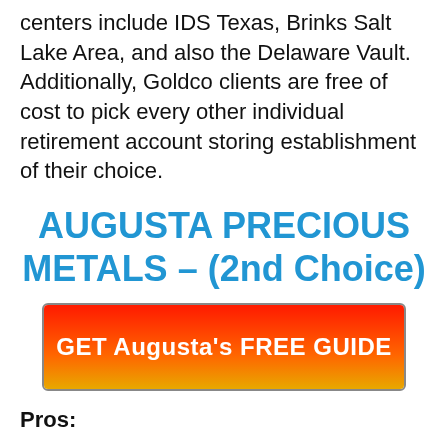centers include IDS Texas, Brinks Salt Lake Area, and also the Delaware Vault. Additionally, Goldco clients are free of cost to pick every other individual retirement account storing establishment of their choice.
AUGUSTA PRECIOUS METALS – (2nd Choice)
[Figure (other): Red to gold gradient CTA button with text: GET Augusta's FREE GUIDE]
Pros:
Aside from offering Silver and gold IRAs,